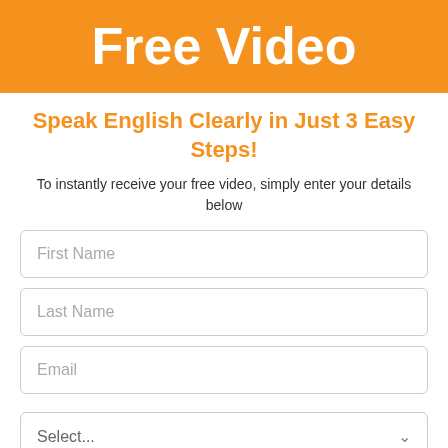Free Video
Speak English Clearly in Just 3 Easy Steps!
To instantly receive your free video, simply enter your details below
First Name
Last Name
Email
Select...